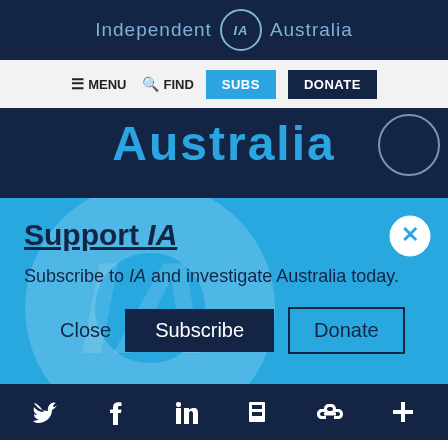Independent IA Australia
MENU   FIND   SUBS   DONATE
[Figure (screenshot): Dark blue banner showing 'Australia' text and partial circle logo watermark]
Support IA
Subscribe to IA and investigate Australia today.
Close   Subscribe   Donate
Social icons: Twitter, Facebook, LinkedIn, Flipboard, Link, Plus